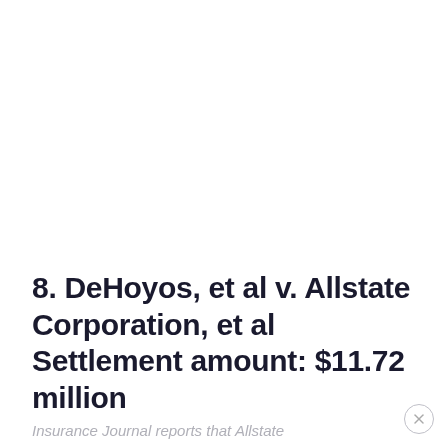8. DeHoyos, et al v. Allstate Corporation, et al Settlement amount: $11.72 million
Insurance Journal reports that Allstate